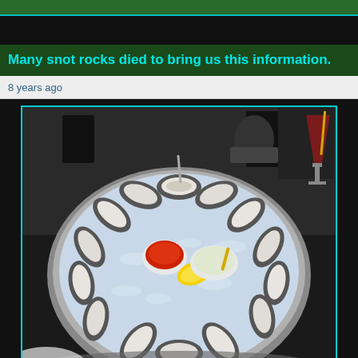Many snot rocks died to bring us this information.
8 years ago
[Figure (photo): A large round platter filled with crushed ice and approximately 18-20 fresh oysters on the half shell arranged in a circle. In the center are two white condiment bowls — one with red cocktail sauce and one with a clear mignonette sauce — and lemon wedges. A cocktail glass with a dark drink is visible in the upper right. The setting appears to be an outdoor restaurant patio.]